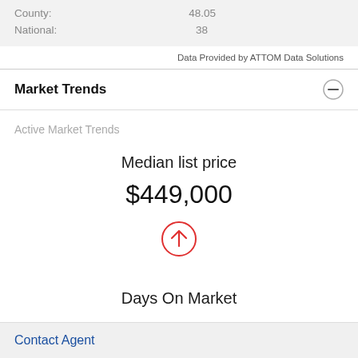| County: | 48.05 |
| National: | 38 |
Data Provided by ATTOM Data Solutions
Market Trends
Active Market Trends
Median list price
$449,000
[Figure (illustration): Red circle with upward arrow icon indicating price increase]
Days On Market
Contact Agent